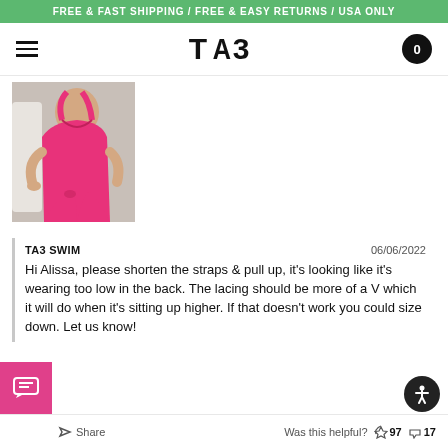FREE & FAST SHIPPING / FREE & EASY RETURNS / USA ONLY
[Figure (logo): TA3 Swim brand logo with hamburger menu icon and cart button showing 0]
[Figure (photo): Woman wearing a hot pink one-piece swimsuit]
TA3 SWIM
06/06/2022
Hi Alissa, please shorten the straps & pull up, it's looking like it's wearing too low in the back. The lacing should be more of a V which it will do when it's sitting up higher. If that doesn't work you could size down. Let us know!
Share   Was this helpful?  97  17